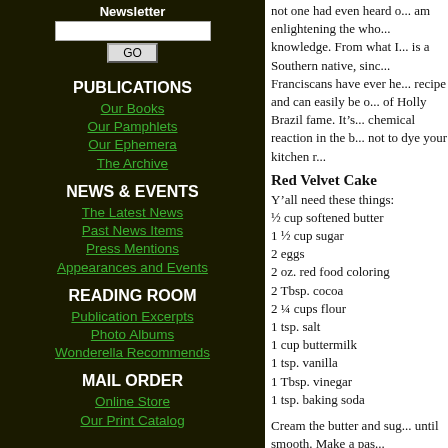Newsletter
PUBLICATIONS
Our Books
Our Pamphlets
Our Ephemera
The Archive
NEWS & EVENTS
The Latest News
Past News Items
Press Mentions
Appearances and Events
READING ROOM
Publication Excerpts
Photo Albums
Wonderella Recommends
MAIL ORDER
Online Store
Our Print Catalog
not one had even heard of... am enlightening the who... knowledge. From what I... is a Southern native, sinc... Franciscans have ever he... recipe and can easily be o... of Holly Brazil fame. It's... chemical reaction in the b... not to dye your kitchen r...
Red Velvet Cake
Y’all need these things:
½ cup softened butter
1 ½ cup sugar
2 eggs
2 oz. red food coloring
2 Tbsp. cocoa
2 ¼ cups flour
1 tsp. salt
1 cup buttermilk
1 tsp. vanilla
1 Tbsp. vinegar
1 tsp. baking soda
Cream the butter and sug... until smooth. Make a pas...